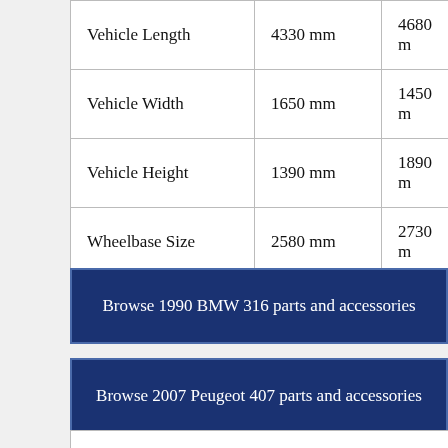|  | 1990 BMW 316 | 2007 Peugeot 407 |
| --- | --- | --- |
| Vehicle Length | 4330 mm | 4680 m |
| Vehicle Width | 1650 mm | 1450 m |
| Vehicle Height | 1390 mm | 1890 m |
| Wheelbase Size | 2580 mm | 2730 m |
| Fuel Tank Capacity | 70 L | 66 L |
Browse 1990 BMW 316 parts and accessories
Browse 2007 Peugeot 407 parts and accessories